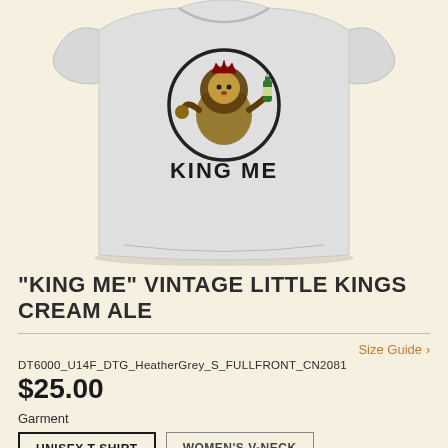[Figure (photo): A heather grey unisex t-shirt with a graphic of a cartoon lion wearing a crown and holding a green beer bottle inside a circle, with the text 'KING ME' in bold black letters below the graphic.]
"KING ME" VINTAGE LITTLE KINGS CREAM ALE
Size Guide >
DT6000_U14F_DTG_HeatherGrey_S_FULLFRONT_CN2081
$25.00
Garment
UNISEX T-SHIRT
WOMEN'S V-NECK